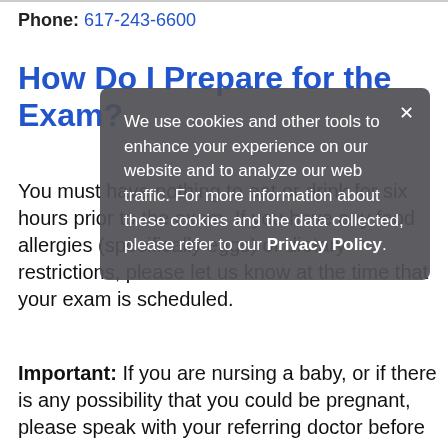Phone: 617-243-6600
How Do I Prepare for the Exam?
You must have nothing to eat or drink for six hours prior to the exam. If you have any food allergies (specifically eggs) or dietary restrictions, please let us know at the time that your exam is scheduled.
We use cookies and other tools × to enhance your experience on our website and to analyze our web traffic. For more information about these cookies and the data collected, please refer to our Privacy Policy.
Important: If you are nursing a baby, or if there is any possibility that you could be pregnant, please speak with your referring doctor before